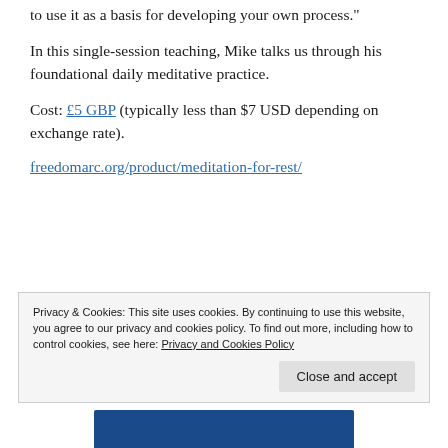to use it as a basis for developing your own process."
In this single-session teaching, Mike talks us through his foundational daily meditative practice.
Cost: £5 GBP (typically less than $7 USD depending on exchange rate).
freedomarc.org/product/meditation-for-rest/
Privacy & Cookies: This site uses cookies. By continuing to use this website, you agree to our privacy and cookies policy. To find out more, including how to control cookies, see here: Privacy and Cookies Policy
Close and accept